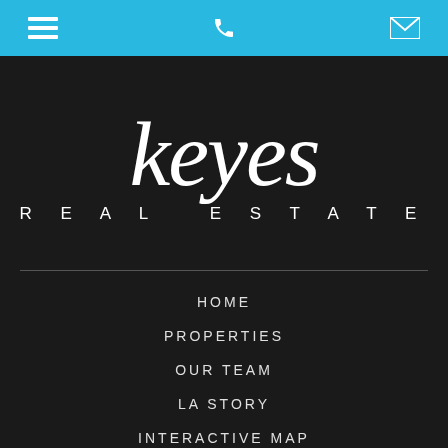[Figure (screenshot): Mobile app top navigation bar with hamburger menu icon, phone icon, and envelope/email icon on a light blue background]
[Figure (logo): Keyes Real Estate logo in white on dark background, with stylized lowercase 'keyes' in large italic serif font and 'REAL ESTATE' in spaced uppercase sans-serif below]
HOME
PROPERTIES
OUR TEAM
LA STORY
INTERACTIVE MAP
PROPERTY VALUATION
CONTACT